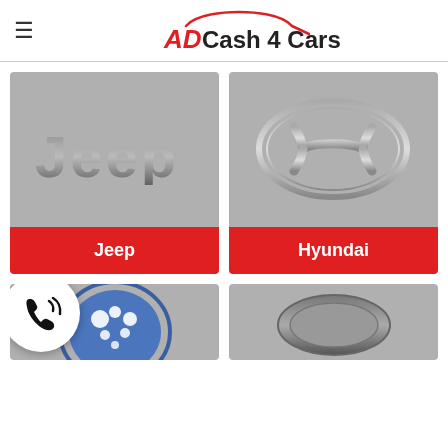AD Cash 4 Cars
[Figure (logo): Jeep brand logo on grey background with red label bar]
[Figure (logo): Hyundai brand logo on grey background with red label bar]
[Figure (logo): Partially visible car brand logo (Subaru) on grey background, bottom row]
[Figure (logo): Partially visible car brand logo on grey background, bottom row]
[Figure (illustration): Phone call icon in white circle, overlay on bottom-left]